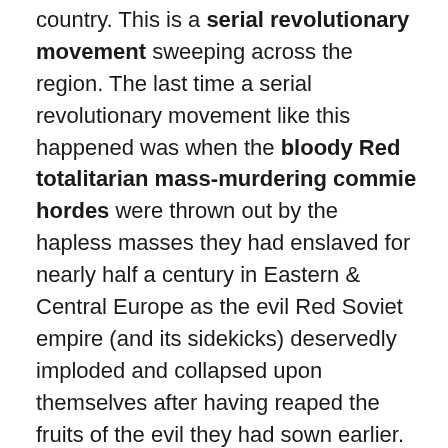country. This is a serial revolutionary movement sweeping across the region. The last time a serial revolutionary movement like this happened was when the bloody Red totalitarian mass-murdering commie hordes were thrown out by the hapless masses they had enslaved for nearly half a century in Eastern & Central Europe as the evil Red Soviet empire (and its sidekicks) deservedly imploded and collapsed upon themselves after having reaped the fruits of the evil they had sown earlier.
I guess this is going to spread to other countries after the heroic revolutions have succeeded in two countries. I also sincerely wish this spreads far and wide and the long-suffering Kashmiri nation and the brutally oppressed Kashmiri people liberate themselves by kicking out the filthy, sadistic, sub-human, paan-and-gutka-chewing hordes of barbaric Indian savages and their rabid semi-